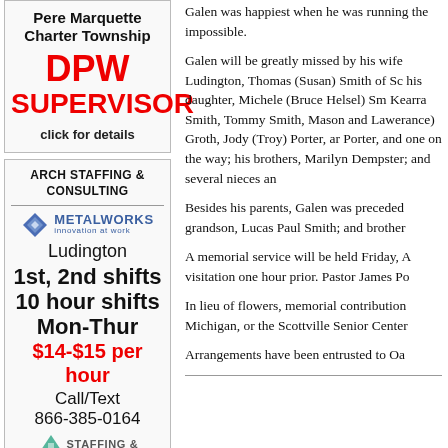[Figure (other): Advertisement for Pere Marquette Charter Township DPW Supervisor position with red bold text and 'click for details']
[Figure (other): Advertisement for Arch Staffing & Consulting - Metalworks Ludington 1st, 2nd shifts, 10 hour shifts Mon-Thur, $14-$15 per hour, Call/Text 866-385-0164]
Galen was happiest when he was running the impossible.
Galen will be greatly missed by his wife Ludington, Thomas (Susan) Smith of Sc his daughter, Michele (Bruce Helsel) Sm Kearra Smith, Tommy Smith, Mason and Lawerance) Groth, Jody (Troy) Porter, ar Porter, and one on the way; his brothers, Marilyn Dempster; and several nieces an
Besides his parents, Galen was preceded grandson, Lucas Paul Smith; and brother
A memorial service will be held Friday, A visitation one hour prior. Pastor James Po
In lieu of flowers, memorial contribution Michigan, or the Scottville Senior Center
Arrangements have been entrusted to Oa